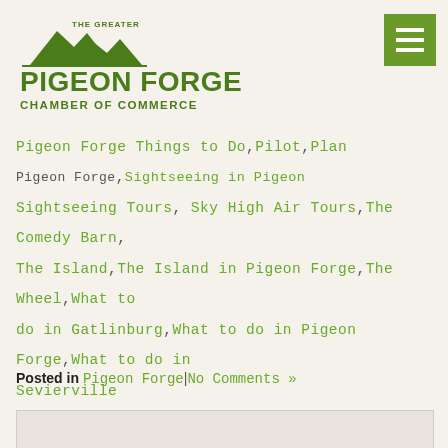[Figure (logo): The Greater Pigeon Forge Chamber of Commerce logo with mountain silhouette]
Pigeon Forge Things to Do, Pilot, Plan, Pigeon Forge, Sightseeing in Pigeon Forge, Sightseeing Tours, Sky High Air Tours, The Comedy Barn, The Island, The Island in Pigeon Forge, The Wheel, What to do in Gatlinburg, What to do in Pigeon Forge, What to do in Sevierville
Posted in Pigeon Forge | No Comments »
[Figure (photo): Image placeholder with no-photo icon]